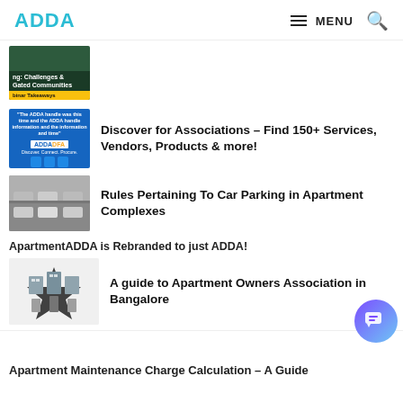ADDA  MENU
[Figure (screenshot): Partially visible article thumbnail with green/dark background, text about Challenges & Gated Communities]
[Figure (illustration): Blue background with ADDA DFA branding and cartoon character]
Discover for Associations – Find 150+ Services, Vendors, Products & more!
[Figure (photo): Car parking lot with vehicles]
Rules Pertaining To Car Parking in Apartment Complexes
ApartmentADDA is Rebranded to just ADDA!
[Figure (illustration): Building/apartment complex illustration with star/award shape]
A guide to Apartment Owners Association in Bangalore
Apartment Maintenance Charge Calculation – A Guide